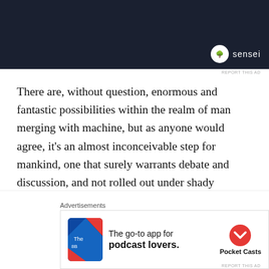[Figure (screenshot): Dark advertisement banner for 'sensei' with logo (bonsai tree in white circle) and brand name in white text on dark navy background]
REPORT THIS AD
There are, without question, enormous and fantastic possibilities within the realm of man merging with machine, but as anyone would agree, it's an almost inconceivable step for mankind, one that surely warrants debate and discussion, and not rolled out under shady circumstances under the guise of a virus 'vaccine'. Personally, I could be excited at the thought of being able to cure Alzheimer's for example with tiny robots, but what is troubling me is that it's all the wrong
Advertisements
[Figure (screenshot): Pocket Casts advertisement: 'The go-to app for podcast lovers.' with colorful icon and Pocket Casts logo]
REPORT THIS AD